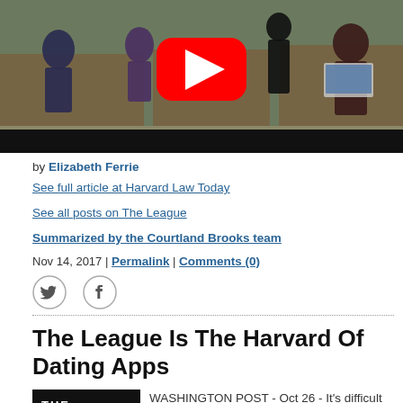[Figure (screenshot): Video thumbnail showing a classroom scene with students at desks and a YouTube play button overlay in the center]
by Elizabeth Ferrie
See full article at Harvard Law Today
See all posts on The League
Summarized by the Courtland Brooks team
Nov 14, 2017 | Permalink | Comments (0)
[Figure (illustration): Twitter and Facebook social media icons]
The League Is The Harvard Of Dating Apps
[Figure (logo): The League app logo - white cursive text on black background]
WASHINGTON POST - Oct 26 - It's difficult to get